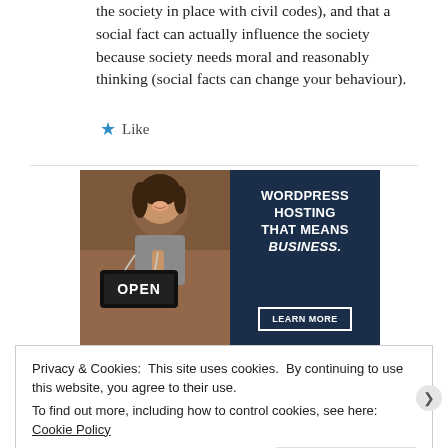the society in place with civil codes), and that a social fact can actually influence the society because society needs moral and reasonably thinking (social facts can change your behaviour).
★  Like
[Figure (illustration): WordPress hosting advertisement showing a smiling woman holding an OPEN sign in a shop, with dark navy panel reading 'WORDPRESS HOSTING THAT MEANS BUSINESS.' and a 'LEARN MORE' button]
Privacy & Cookies: This site uses cookies. By continuing to use this website, you agree to their use.
To find out more, including how to control cookies, see here: Cookie Policy
Close and accept